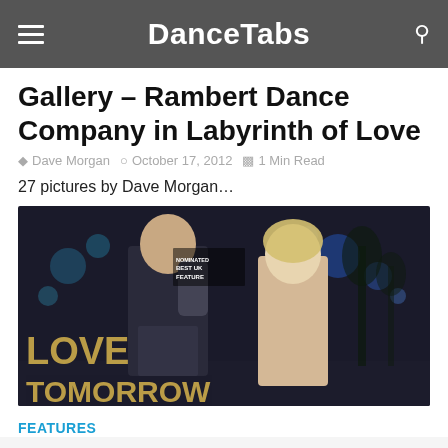DanceTabs
Gallery – Rambert Dance Company in Labyrinth of Love
Dave Morgan   October 17, 2012   1 Min Read
27 pictures by Dave Morgan...
[Figure (photo): Film poster for 'Love Tomorrow' showing a man in a dark jacket with a backpack and a blonde woman in a beige coat facing each other on a street at night with city lights in the background. Text overlay reads 'LOVE TOMORROW' in large gold letters and 'NOMINATED BEST UK FEATURE' in the top left corner.]
FEATURES